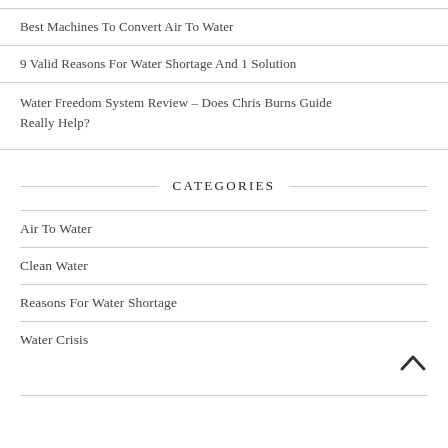Best Machines To Convert Air To Water
9 Valid Reasons For Water Shortage And 1 Solution
Water Freedom System Review – Does Chris Burns Guide Really Help?
CATEGORIES
Air To Water
Clean Water
Reasons For Water Shortage
Water Crisis